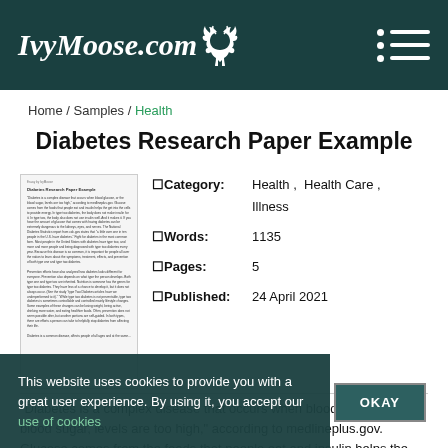IvyMoose.com
Home / Samples / Health
Diabetes Research Paper Example
[Figure (other): Small preview thumbnail of the essay document]
Category: Health, Health Care, Illness
Words: 1135
Pages: 5
Published: 24 April 2021
"Diabetes is a complex disease that occurs when blood glucose, or the blood sugar, levels are too high," according to medlineplus.gov. Glucose comes from the foods that people eat and insulin helps the glucose get into the cells to
This website uses cookies to provide you with a great user experience. By using it, you accept our use of cookies